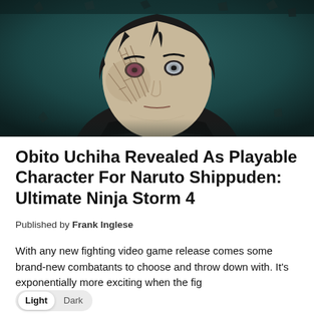[Figure (illustration): Anime character illustration of Obito Uchiha from Naruto Shippuden, showing his face with scarred/stitched left side, black hair, and distinctive eyes, set against a dark teal background with debris floating around.]
Obito Uchiha Revealed As Playable Character For Naruto Shippuden: Ultimate Ninja Storm 4
Published by Frank Inglese
With any new fighting video game release comes some brand-new combatants to choose and throw down with. It's exponentially more exciting when the fighting series in question has been going on for many years and is based off of a series that has seen various characters through the